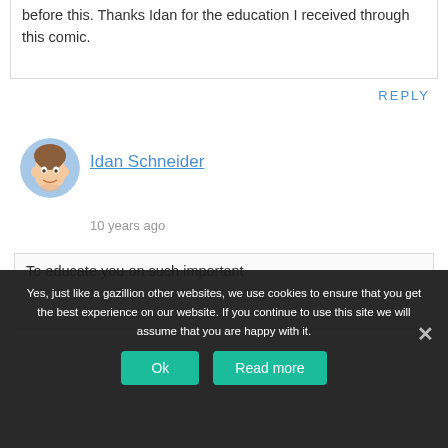before this. Thanks Idan for the education I received through this comic.
REPLY
[Figure (illustration): Cartoon avatar of Idan Schneider — a drawn face with brown hair on a light blue circular background]
Idan Schneider
10 years ago
To educate you on such important
Yes, just like a gazillion other websites, we use cookies to ensure that you get the best experience on our website. If you continue to use this site we will assume that you are happy with it.
Ok
Read more